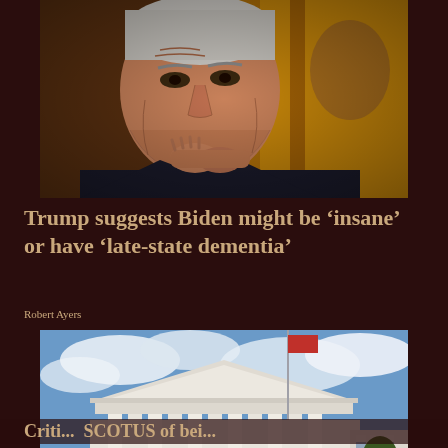[Figure (photo): Close-up photo of Joe Biden looking concerned, with golden/yellow background, wearing a dark suit, hands clasped near his chin]
Trump suggests Biden might be ‘insane’ or have ‘late-state dementia’
Robert Ayers
[Figure (photo): Exterior photo of the United States Supreme Court building with classical columns, blue sky with clouds, and a flagpole in front]
Criti... SCOTUS of bei...